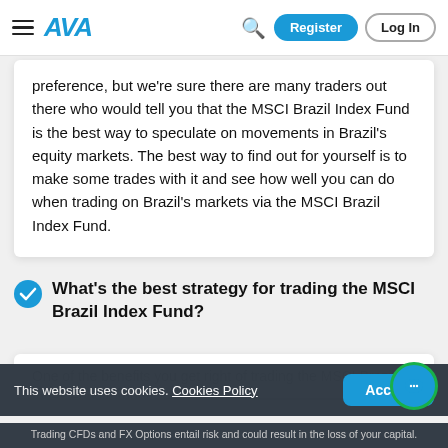AVA — Register | Log In
preference, but we're sure there are many traders out there who would tell you that the MSCI Brazil Index Fund is the best way to speculate on movements in Brazil's equity markets. The best way to find out for yourself is to make some trades with it and see how well you can do when trading on Brazil's markets via the MSCI Brazil Index Fund.
What's the best strategy for trading the MSCI Brazil Index Fund?
One of the benefits you get right of trading the MSCI Brazil Index Fund through
This website uses cookies. Cookies Policy
Trading CFDs and FX Options entail risk and could result in the loss of your capital.